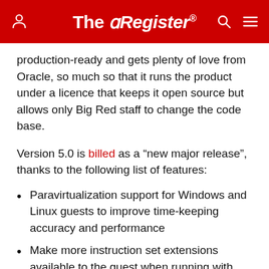The Register
production-ready and gets plenty of love from Oracle, so much so that it runs the product under a licence that keeps it open source but allows only Big Red staff to change the code base.
Version 5.0 is billed as a “new major release”, thanks to the following list of features:
Paravirtualization support for Windows and Linux guests to improve time-keeping accuracy and performance
Make more instruction set extensions available to the guest when running with hardware-assisted virtualization and nested paging. Among others this includes: SSE 4.1, SSE4.2, AES-NI, POPCNT,